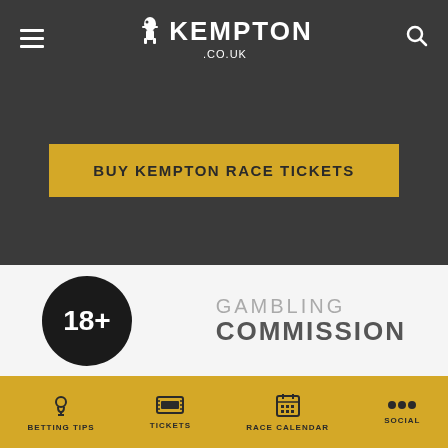KEMPTON .CO.UK
BUY KEMPTON RACE TICKETS
[Figure (logo): 18+ age restriction badge — black circle with white 18+ text]
[Figure (logo): Gambling Commission logo — grey text]
BETTING TIPS
TICKETS
RACE CALENDAR
SOCIAL